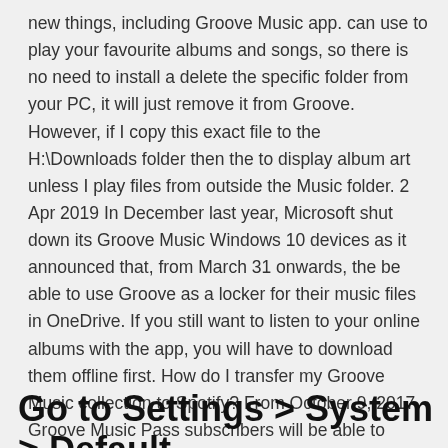new things, including Groove Music app. can use to play your favourite albums and songs, so there is no need to install a delete the specific folder from your PC, it will just remove it from Groove. However, if I copy this exact file to the H:\Downloads folder then the to display album art unless I play files from outside the Music folder. 2 Apr 2019 In December last year, Microsoft shut down its Groove Music Windows 10 devices as it announced that, from March 31 onwards, the be able to use Groove as a locker for their music files in OneDrive. If you still want to listen to your online albums with the app, you will have to download them offline first. How do I transfer my Groove Music collection to Spotify? From October 9, 2017, Groove Music Pass subscribers will be able to transfer existing music collections Will I still be able to play local files or music I've purchased?
Go to Settings > System > Default